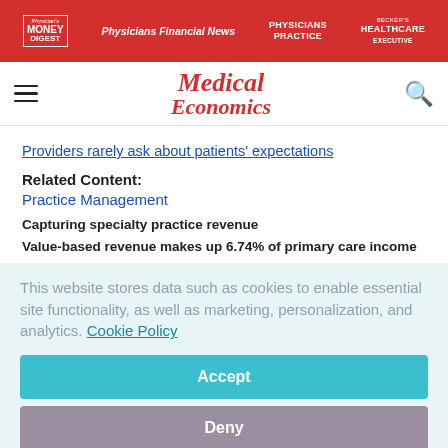Physician's Money Digest | Physicians Financial News | Physicians Practice | Becker's Healthcare Executive
[Figure (logo): Medical Economics logo with red italic text]
Providers rarely ask about patients' expectations
Related Content:
Practice Management
Capturing specialty practice revenue
Value-based revenue makes up 6.74% of primary care income
This website stores data such as cookies to enable essential site functionality, as well as marketing, personalization, and analytics. Cookie Policy
Accept
Deny